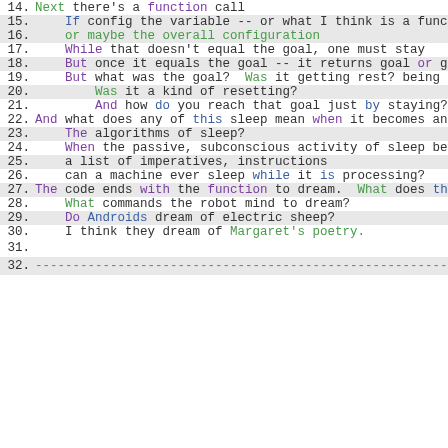14. Next there's a function call
15.   If config the variable -- or what I think is a function cal
16.   or maybe the overall configuration
17.   While that doesn't equal the goal, one must stay
18.   But once it equals the goal -- it returns goal or goal reac
19.   But what was the goal?  Was it getting rest? being at rest?
20.     Was it a kind of resetting?
21.     And how do you reach that goal just by staying?
22. And what does any of this sleep mean when it becomes an algorit
23.   The algorithms of sleep?
24.   When the passive, subconscious activity of sleep becomes
25.   a list of imperatives, instructions
26.   can a machine ever sleep while it is processing?
27. The code ends with the function to dream.  What does this funct.
28.   What commands the robot mind to dream?
29.   Do Androids dream of electric sheep?
30.   I think they dream of Margaret's poetry.
31.
32. -----------------------------------------------------------